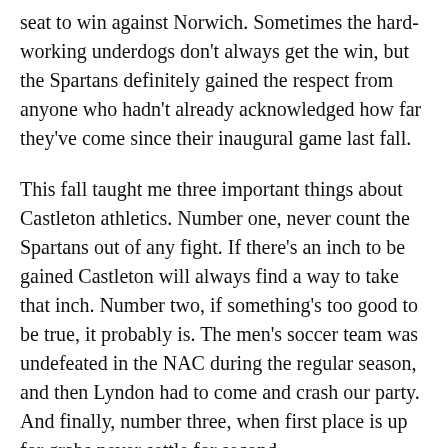seat to win against Norwich. Sometimes the hard-working underdogs don't always get the win, but the Spartans definitely gained the respect from anyone who hadn't already acknowledged how far they've come since their inaugural game last fall.
This fall taught me three important things about Castleton athletics. Number one, never count the Spartans out of any fight. If there's an inch to be gained Castleton will always find a way to take that inch. Number two, if something's too good to be true, it probably is. The men's soccer team was undefeated in the NAC during the regular season, and then Lyndon had to come and crash our party. And finally, number three, when first place is up for grabs never settle for second.
The women's soccer team remembered the feeling of having the NAC title taken from them last fall.